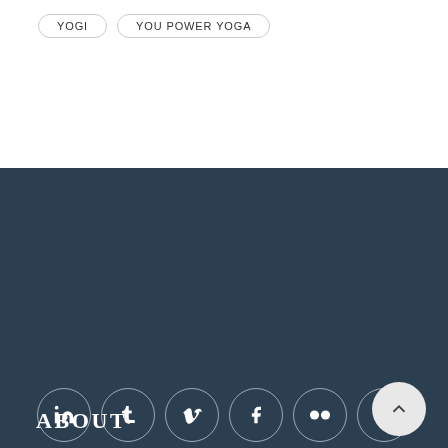YOGI
YOU POWER YOGA
[Figure (other): Social media icon links row: LinkedIn, Tumblr, Vimeo, Facebook, Flickr, Twitter, and Instagram in circular outlined buttons on dark teal background]
ABOUT
[Figure (other): Back to top button: light grey circle with upward chevron arrow]